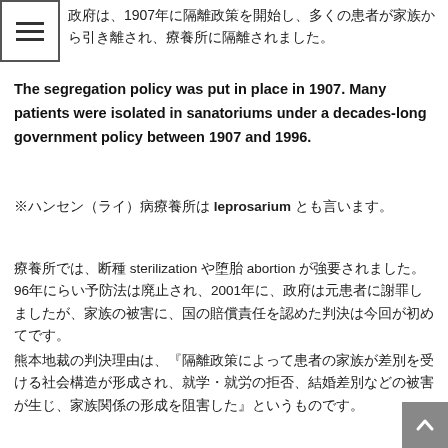政府は、1907年に隔離政策を開始し、多くの患者が家族から引き離され、療養所に隔離されました。
The segregation policy was put in place in 1907. Many patients were isolated in sanatoriums under a decades-long government policy between 1907 and 1996.
※ハンセン（ライ）病療養所は leprosarium とも言います。
療養所では、断種 sterilization や堕胎 abortion が強要されました。96年にらい予防法は廃止され、2001年に、政府は元患者に謝罪しましたが、家族の被害に、国の賠償責任を認めた判決は今回が初めてです。
熊本地裁の判決理由は、『隔離政策によって患者の家族が差別を受ける社会構造が形成され、就学・就労の拒否、結婚差別などの被害が生じ、家族関係の形成を阻害した』というものです。